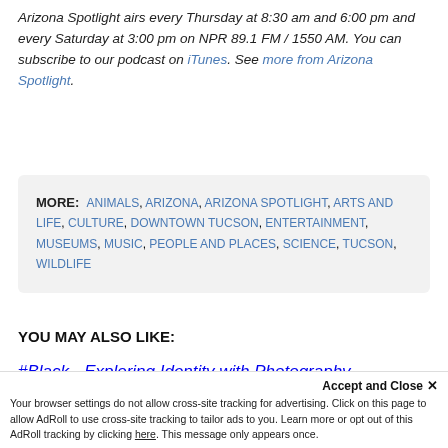Arizona Spotlight airs every Thursday at 8:30 am and 6:00 pm and every Saturday at 3:00 pm on NPR 89.1 FM / 1550 AM. You can subscribe to our podcast on iTunes. See more from Arizona Spotlight.
MORE: ANIMALS, ARIZONA, ARIZONA SPOTLIGHT, ARTS AND LIFE, CULTURE, DOWNTOWN TUCSON, ENTERTAINMENT, MUSEUMS, MUSIC, PEOPLE AND PLACES, SCIENCE, TUCSON, WILDLIFE
YOU MAY ALSO LIKE:
#Black - Exploring Identity with Photography
Accept and Close ✕ Your browser settings do not allow cross-site tracking for advertising. Click on this page to allow AdRoll to use cross-site tracking to tailor ads to you. Learn more or opt out of this AdRoll tracking by clicking here. This message only appears once.